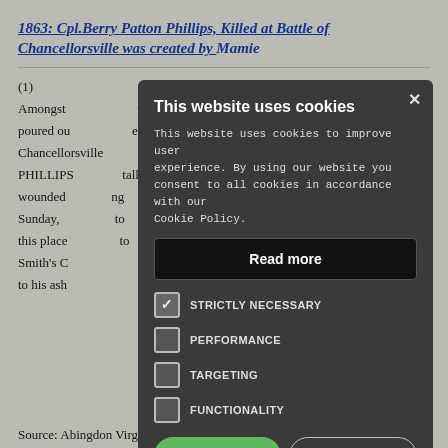1863: Cpl.Berry Patton Phillips, Killed at Battle of Chancellorsville was created by Mamie
(1)
Amongst ... poured ou... Chancellorsville... PHILLIPS... wounded... Sunday, t... this place... Smith's C... to his ash...
[Figure (screenshot): Cookie consent modal dialog with dark background. Title: 'This website uses cookies'. Body text: 'This website uses cookies to improve user experience. By using our website you consent to all cookies in accordance with our Cookie Policy.' A 'Read more' button. Checkboxes for: STRICTLY NECESSARY (checked), PERFORMANCE (unchecked), TARGETING (unchecked), FUNCTIONALITY (unchecked). Buttons: ACCEPT ALL (green), DECLINE ALL (outlined). SHOW DETAILS option at bottom with gear icon. Close X button at top right.]
Source: Abingdon Virginian, Abingdon,